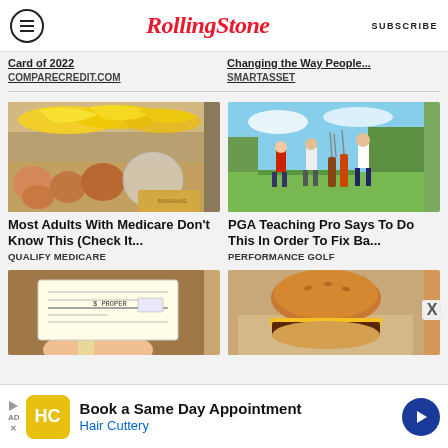RollingStone  SUBSCRIBE
Card of 2022  COMPARECREDIT.COM
Changing the Way People...  SMARTASSET
[Figure (photo): Grocery store produce section with bananas and melons]
Most Adults With Medicare Don't Know This (Check It...
QUALIFY MEDICARE
[Figure (photo): People on a golf course with golf bags]
PGA Teaching Pro Says To Do This In Order To Fix Ba...
PERFORMANCE GOLF
[Figure (photo): Person holding a check or document]
[Figure (photo): Cheeseburger on paper]
Book a Same Day Appointment  Hair Cuttery